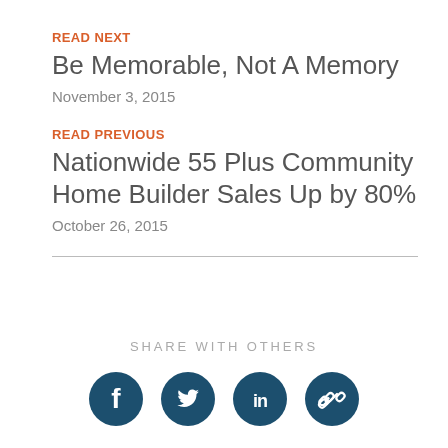READ NEXT
Be Memorable, Not A Memory
November 3, 2015
READ PREVIOUS
Nationwide 55 Plus Community Home Builder Sales Up by 80%
October 26, 2015
SHARE WITH OTHERS
[Figure (infographic): Social sharing icons: Facebook, Twitter, LinkedIn, and a link/chain icon, dark teal circular buttons]